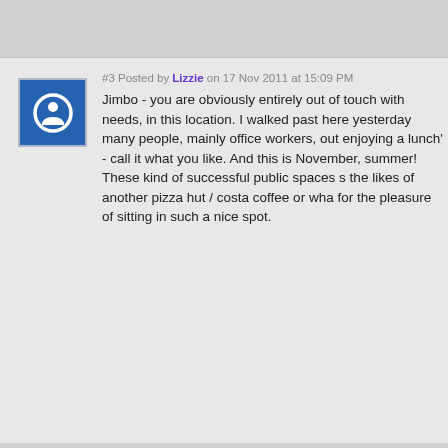#3 Posted by Lizzie on 17 Nov 2011 at 15:09 PM
Jimbo - you are obviously entirely out of touch with needs, in this location. I walked past here yesterday many people, mainly office workers, out enjoying a lunch' - call it what you like. And this is November, summer! These kind of successful public spaces s the likes of another pizza hut / costa coffee or wha for the pleasure of sitting in such a nice spot.
#4 Posted by J-Bob on 17 Nov 2011 at 16:09 PM
The idea that Scotland "doesn't have the climate" the winter is silly.

In Denmark they sit outside all through the winter i even have those wee mini sleeping bag things atta you warm. And even in France, its not exactly hot over- go to some of the towns around the alps, an outside drinking coffee.

I was down here the other day too and it seemed p low temperatures.